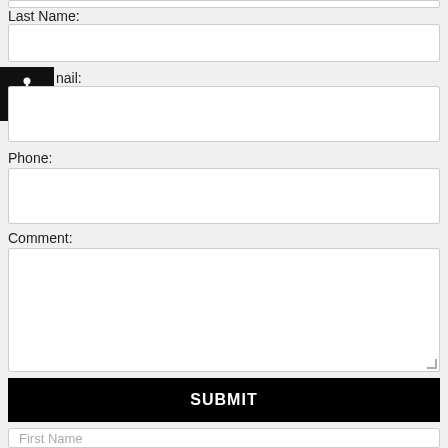Last Name:
Email:
Phone:
Comment:
SUBMIT
First Name